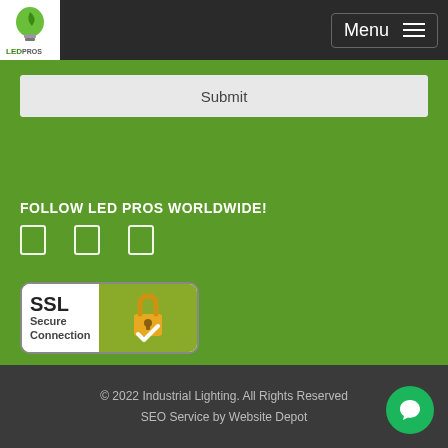[Figure (logo): LED Pros logo with green leaf bulb and text]
Menu
Submit
FOLLOW LED PROS WORLDWIDE!
[Figure (illustration): Three social media icons (Facebook, Twitter/X, Instagram) as outline rectangles]
[Figure (illustration): SSL Secure Connection badge with padlock icon]
© 2022 Industrial Lighting. All Rights Reserved SEO Service by Website Depot